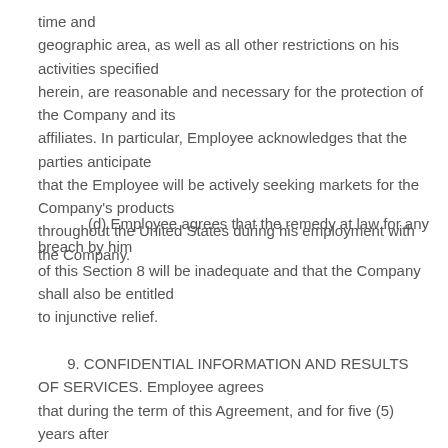time and geographic area, as well as all other restrictions on his activities specified herein, are reasonable and necessary for the protection of the Company and its affiliates. In particular, Employee acknowledges that the parties anticipate that the Employee will be actively seeking markets for the Company's products throughout the United States during his employment with the Company.
(d) Employee agrees that the remedy at law for any breach by him of this Section 8 will be inadequate and that the Company shall also be entitled to injunctive relief.
9. CONFIDENTIAL INFORMATION AND RESULTS OF SERVICES. Employee agrees that during the term of this Agreement, and for five (5) years after